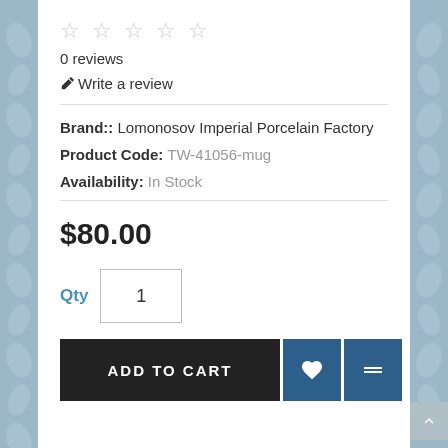☆☆☆☆☆
0 reviews
✏ Write a review
Brand:: Lomonosov Imperial Porcelain Factory
Product Code: TW-41056-mug
Availability: In Stock
$80.00
Qty  1
ADD TO CART